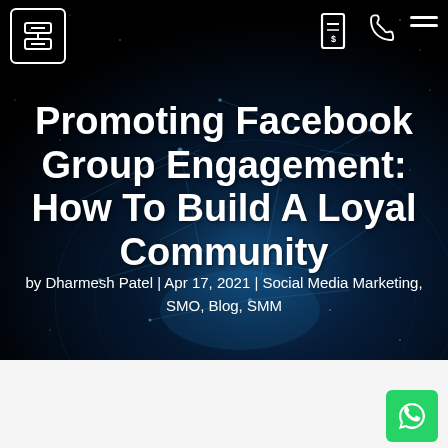[Figure (illustration): Dark hero background with a globe/earth network map with glowing connection lines and dots on a deep dark blue/black background]
Promoting Facebook Group Engagement: How To Build A Loyal Community
by Dharmesh Patel | Apr 17, 2021 | Social Media Marketing, SMO, Blog, SMM